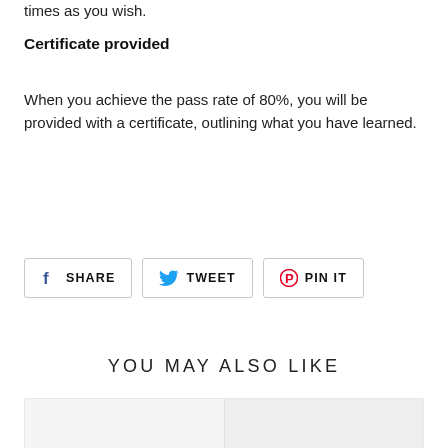times as you wish.
Certificate provided
When you achieve the pass rate of 80%, you will be provided with a certificate, outlining what you have learned.
[Figure (other): Social sharing buttons row: Facebook SHARE, Twitter TWEET, Pinterest PIN IT]
YOU MAY ALSO LIKE
[Figure (other): Product card thumbnails (partially visible at bottom of page)]